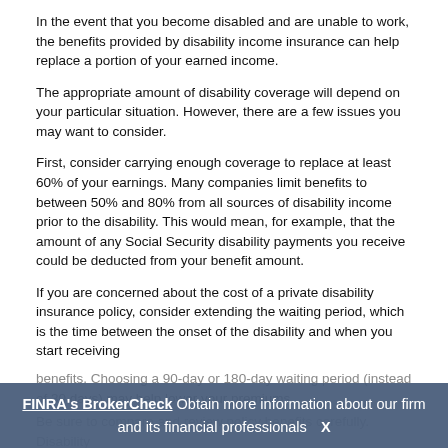In the event that you become disabled and are unable to work, the benefits provided by disability income insurance can help replace a portion of your earned income.
The appropriate amount of disability coverage will depend on your particular situation. However, there are a few issues you may want to consider.
First, consider carrying enough coverage to replace at least 60% of your earnings. Many companies limit benefits to between 50% and 80% from all sources of disability income prior to the disability. This would mean, for example, that the amount of any Social Security disability payments you receive could be deducted from your benefit amount.
If you are concerned about the cost of a private disability insurance policy, consider extending the waiting period, which is the time between the onset of the disability and when you start receiving benefits. Choosing a 90-day or 180-day waiting period (instead of 30 days) may help lower your premiums.
Be sure to compare and review policy benefits carefully. Disability
FINRA's BrokerCheck Obtain more information about our firm and its financial professionals  X